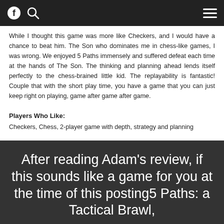[navigation bar with Facebook icon, search icon, hamburger menu]
While I thought this game was more like Checkers, and I would have a chance to beat him. The Son who dominates me in chess-like games, I was wrong. We enjoyed 5 Paths immensely and suffered defeat each time at the hands of The Son. The thinking and planning ahead lends itself perfectly to the chess-brained little kid. The replayability is fantastic! Couple that with the short play time, you have a game that you can just keep right on playing, game after game after game.
Players Who Like:
Checkers, Chess, 2-player game with depth, strategy and planning
Want to win a copy of 5 Paths? ENTER HERE!
After reading Adam's review, if this sounds like a game for you at the time of this posting5 Paths: a Tactical Brawl,